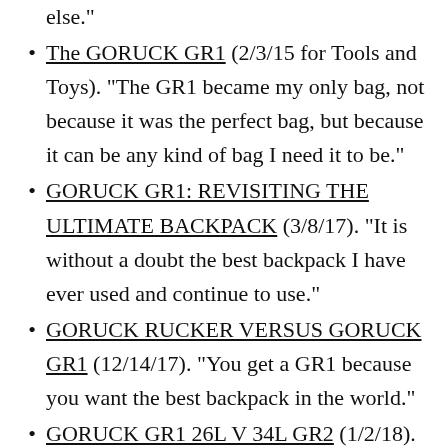else.”
The GORUCK GR1 (2/3/15 for Tools and Toys). “The GR1 became my only bag, not because it was the perfect bag, but because it can be any kind of bag I need it to be.”
GORUCK GR1: REVISITING THE ULTIMATE BACKPACK (3/8/17). “It is without a doubt the best backpack I have ever used and continue to use.”
GORUCK RUCKER VERSUS GORUCK GR1 (12/14/17). “You get a GR1 because you want the best backpack in the world.”
GORUCK GR1 26L V 34L GR2 (1/2/18).